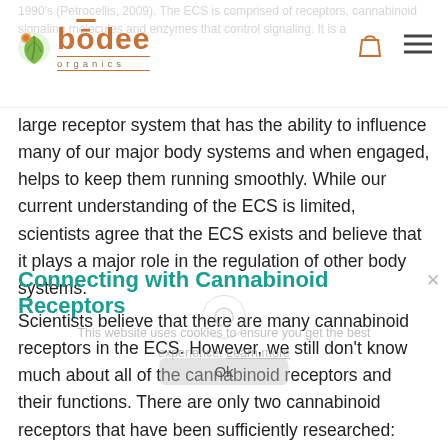bodee organics
large receptor system that has the ability to influence many of our major body systems and when engaged, helps to keep them running smoothly. While our current understanding of the ECS is limited, scientists agree that the ECS exists and believe that it plays a major role in the regulation of other body systems.
Connecting with Cannabinoid Receptors
Scientists believe that there are many cannabinoid receptors in the ECS. However, we still don't know much about all of the cannabinoid receptors and their functions. There are only two cannabinoid receptors that have been sufficiently researched: CB1 and CB2. CB1 and CB2 receptors are G-protein coupled